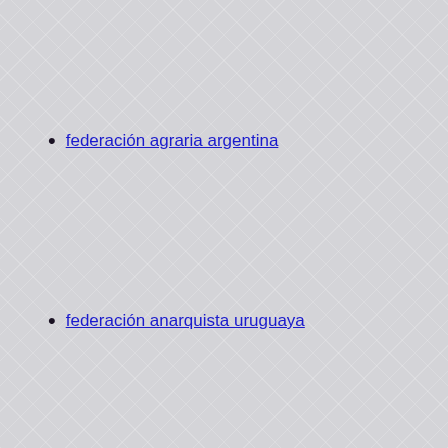federación agraria argentina
federación anarquista uruguaya